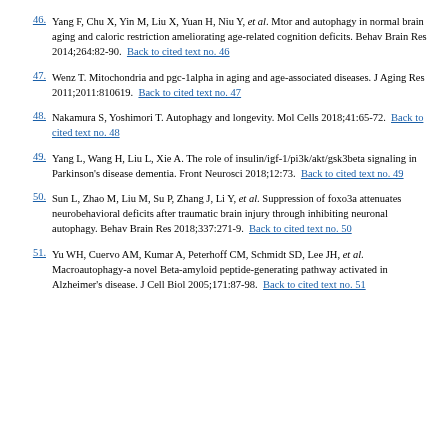46. Yang F, Chu X, Yin M, Liu X, Yuan H, Niu Y, et al. Mtor and autophagy in normal brain aging and caloric restriction ameliorating age-related cognition deficits. Behav Brain Res 2014;264:82-90. Back to cited text no. 46
47. Wenz T. Mitochondria and pgc-1alpha in aging and age-associated diseases. J Aging Res 2011;2011:810619. Back to cited text no. 47
48. Nakamura S, Yoshimori T. Autophagy and longevity. Mol Cells 2018;41:65-72. Back to cited text no. 48
49. Yang L, Wang H, Liu L, Xie A. The role of insulin/igf-1/pi3k/akt/gsk3beta signaling in Parkinson's disease dementia. Front Neurosci 2018;12:73. Back to cited text no. 49
50. Sun L, Zhao M, Liu M, Su P, Zhang J, Li Y, et al. Suppression of foxo3a attenuates neurobehavioral deficits after traumatic brain injury through inhibiting neuronal autophagy. Behav Brain Res 2018;337:271-9. Back to cited text no. 50
51. Yu WH, Cuervo AM, Kumar A, Peterhoff CM, Schmidt SD, Lee JH, et al. Macroautophagy-a novel Beta-amyloid peptide-generating pathway activated in Alzheimer's disease. J Cell Biol 2005;171:87-98. Back to cited text no. 51